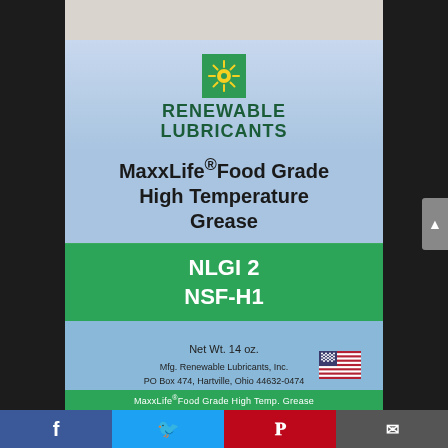[Figure (photo): A cylindrical grease cartridge/tube for Renewable Lubricants MaxxLife Food Grade High Temperature Grease, NLGI 2 NSF-H1, Net Wt. 14 oz. The label shows the Renewable Lubricants logo (green square with yellow sunflower icon), product name in dark text on a light blue gradient, a green band with NLGI 2 / NSF-H1, and a lower blue section with manufacturer address and US flag icon. A green label band at the bottom reads MaxxLife Food Grade High Temp. Grease.]
[Figure (screenshot): Social media share bar at bottom with Facebook (blue), Twitter (light blue), Pinterest (red), and email (dark grey) icons.]